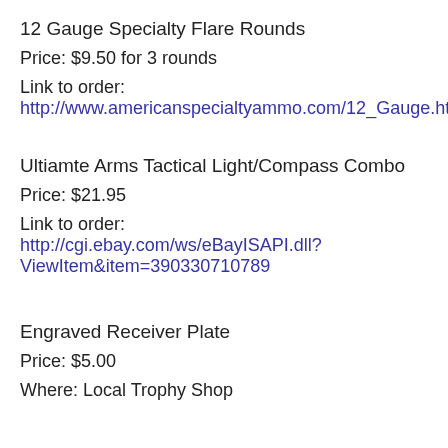12 Gauge Specialty Flare Rounds
Price: $9.50 for 3 rounds
Link to order: http://www.americanspecialtyammo.com/12_Gauge.html
Ultiamte Arms Tactical Light/Compass Combo
Price: $21.95
Link to order: http://cgi.ebay.com/ws/eBayISAPI.dll?ViewItem&item=390330710789
Engraved Receiver Plate
Price: $5.00
Where: Local Trophy Shop